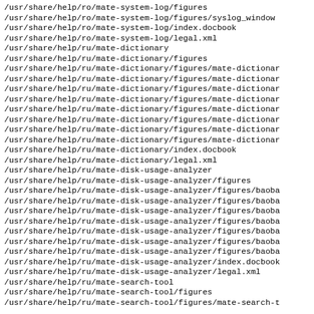/usr/share/help/ro/mate-system-log/figures
/usr/share/help/ro/mate-system-log/figures/syslog_window
/usr/share/help/ro/mate-system-log/index.docbook
/usr/share/help/ro/mate-system-log/legal.xml
/usr/share/help/ru/mate-dictionary
/usr/share/help/ru/mate-dictionary/figures
/usr/share/help/ru/mate-dictionary/figures/mate-dictionar
/usr/share/help/ru/mate-dictionary/figures/mate-dictionar
/usr/share/help/ru/mate-dictionary/figures/mate-dictionar
/usr/share/help/ru/mate-dictionary/figures/mate-dictionar
/usr/share/help/ru/mate-dictionary/figures/mate-dictionar
/usr/share/help/ru/mate-dictionary/figures/mate-dictionar
/usr/share/help/ru/mate-dictionary/figures/mate-dictionar
/usr/share/help/ru/mate-dictionary/figures/mate-dictionar
/usr/share/help/ru/mate-dictionary/index.docbook
/usr/share/help/ru/mate-dictionary/legal.xml
/usr/share/help/ru/mate-disk-usage-analyzer
/usr/share/help/ru/mate-disk-usage-analyzer/figures
/usr/share/help/ru/mate-disk-usage-analyzer/figures/baoba
/usr/share/help/ru/mate-disk-usage-analyzer/figures/baoba
/usr/share/help/ru/mate-disk-usage-analyzer/figures/baoba
/usr/share/help/ru/mate-disk-usage-analyzer/figures/baoba
/usr/share/help/ru/mate-disk-usage-analyzer/figures/baoba
/usr/share/help/ru/mate-disk-usage-analyzer/figures/baoba
/usr/share/help/ru/mate-disk-usage-analyzer/figures/baoba
/usr/share/help/ru/mate-disk-usage-analyzer/index.docbook
/usr/share/help/ru/mate-disk-usage-analyzer/legal.xml
/usr/share/help/ru/mate-search-tool
/usr/share/help/ru/mate-search-tool/figures
/usr/share/help/ru/mate-search-tool/figures/mate-search-t